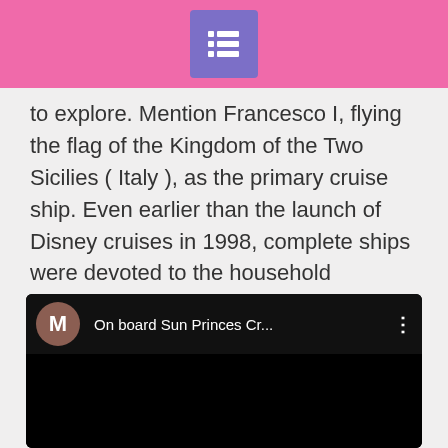[icon: list/table of contents icon]
to explore. Mention Francesco I, flying the flag of the Kingdom of the Two Sicilies ( Italy ), as the primary cruise ship. Even earlier than the launch of Disney cruises in 1998, complete ships were devoted to the household travelers. When starvation hits you enjoy meals in an informal open seating setting which offers Continental delicacies and specialties from the region the ship is cruising.
[Figure (screenshot): YouTube-style video embed with black background. Shows avatar circle with letter M, title text 'On board Sun Princes Cr...' and three-dot menu icon.]